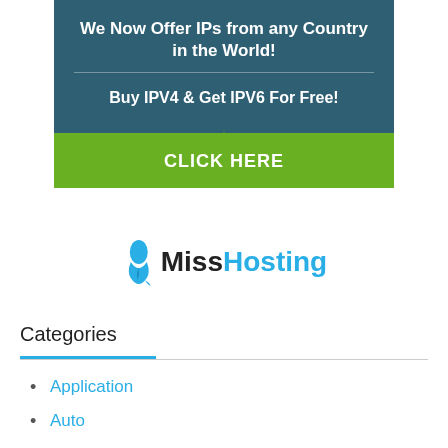[Figure (infographic): Advertisement banner with dark teal background. Text reads 'We Now Offer IPs from any Country in the World!' with a divider, then 'Buy IPV4 & Get IPV6 For Free!' followed by a green bar with a triangle arrow and 'CLICK HERE' button.]
[Figure (logo): Miss Hosting logo with a blue flame/person icon, 'Miss' in black bold text and 'Hosting' in blue bold text.]
Categories
Application
Auto
Automobile